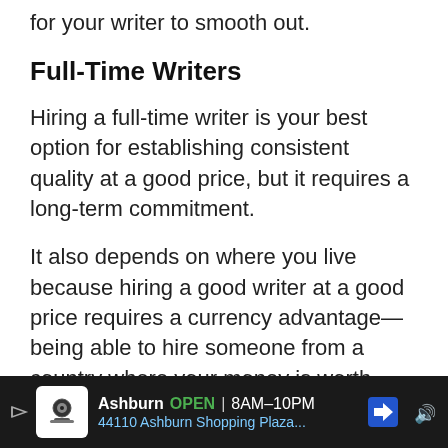for your writer to smooth out.
Full-Time Writers
Hiring a full-time writer is your best option for establishing consistent quality at a good price, but it requires a long-term commitment.
It also depends on where you live because hiring a good writer at a good price requires a currency advantage—being able to hire someone from a country where your money is worth more.
It's a misconception that good writers must come from places like the US, UK, or Canada
Ashburn OPEN 8AM–10PM 44110 Ashburn Shopping Plaza...